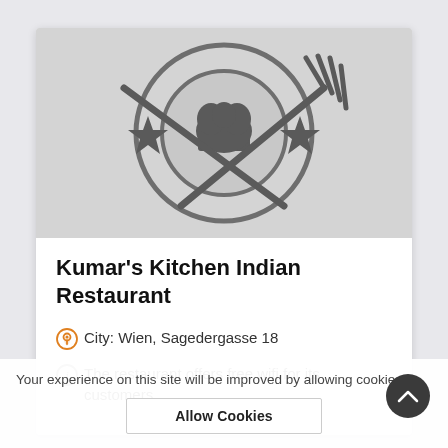[Figure (logo): Restaurant logo with chef hat, knife and fork crossed, two stars, circular emblem on gray background]
Kumar's Kitchen Indian Restaurant
City: Wien, Sagedergasse 18
The restaurant offers free wifi for its customers.
Your experience on this site will be improved by allowing cookies.
Allow Cookies